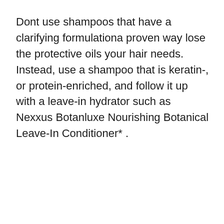Dont use shampoos that have a clarifying formulationa proven way lose the protective oils your hair needs. Instead, use a shampoo that is keratin-, or protein-enriched, and follow it up with a leave-in hydrator such as Nexxus Botanluxe Nourishing Botanical Leave-In Conditioner* .